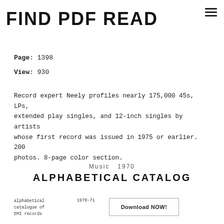FIND PDF READ
Page: 1398
View: 930
Record expert Neely profiles nearly 175,000 45s, LPs, extended play singles, and 12-inch singles by artists whose first record was issued in 1975 or earlier. 200 photos. 8-page color section.
Music  1970
ALPHABETICAL CATALOG
alphabetical catalogue of EMI records  1970-71  Download NOW!